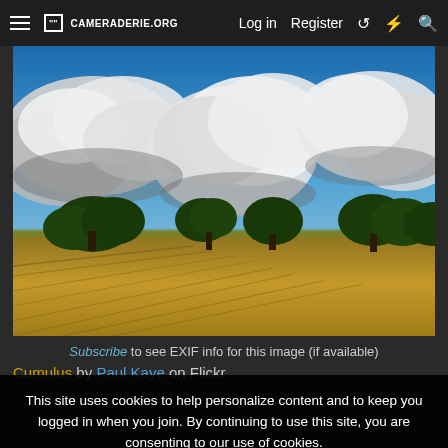≡  [⊞] CAMERADERIE.ORG   Log in   Register  ↺  ⚡  🔍
[Figure (photo): Landscape photograph of a harvested golden field with rows of cut hay, several large oak trees in the middle distance, and a dramatic sky with large white cumulus clouds against deep blue sky.]
Subscribe to see EXIF info for this image (if available)
Cumulus by Paul Kaye on Flickr
This site uses cookies to help personalize content and to keep you logged in when you join. By continuing to use this site, you are consenting to our use of cookies.
✓ Accept   Learn more...